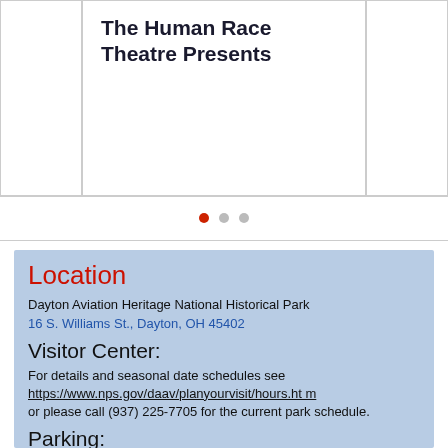The Human Race Theatre Presents
[Figure (other): Carousel navigation dots: one red active dot and two grey inactive dots]
Location
Dayton Aviation Heritage National Historical Park
16 S. Williams St., Dayton, OH 45402
Visitor Center:
For details and seasonal date schedules see https://www.nps.gov/daav/planyourvisit/hours.htm or please call (937) 225-7705 for the current park schedule.
Parking:
From W. Third St., turn south on Williams St and then turn left on Fourth St. Go 1/2 block and turn left into the